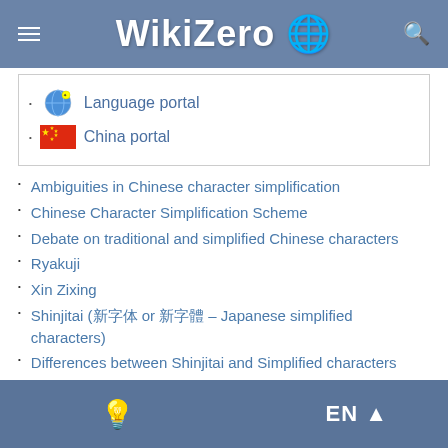WikiZero
Language portal
China portal
Ambiguities in Chinese character simplification
Chinese Character Simplification Scheme
Debate on traditional and simplified Chinese characters
Ryakuji
Xin Zixing
Shinjitai (新字体 or 新字體 – Japanese simplified characters)
Differences between Shinjitai and Simplified characters
Traditional Chinese characters
Notes
EN ▲